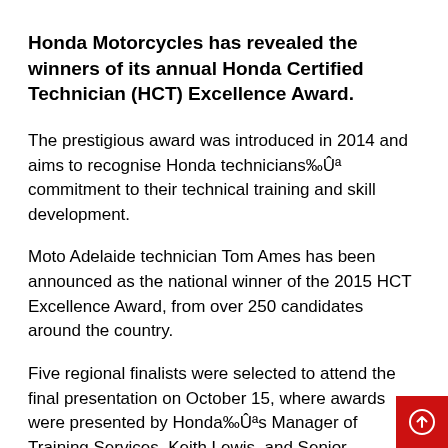Honda Motorcycles has revealed the winners of its annual Honda Certified Technician (HCT) Excellence Award.
The prestigious award was introduced in 2014 and aims to recognise Honda technicians‰Ûªs commitment to their technical training and skill development.
Moto Adelaide technician Tom Ames has been announced as the national winner of the 2015 HCT Excellence Award, from over 250 candidates around the country.
Five regional finalists were selected to attend the final presentation on October 15, where awards were presented by Honda‰Ûªs Manager of Training Services, Keith Lewis, and Senior Motorcycles Trainer, Richard Wojcicki.
Keith Lewis said the awards are a great opportunity for the